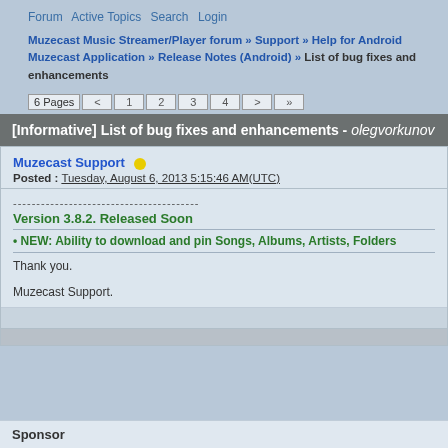Forum  Active Topics  Search  Login
Muzecast Music Streamer/Player forum » Support » Help for Android Muzecast Application » Release Notes (Android) » List of bug fixes and enhancements
6 Pages  < 1 2 3 4 > »
[Informative] List of bug fixes and enhancements - olegvorkunov
Muzecast Support
Posted : Tuesday, August 6, 2013 5:15:46 AM(UTC)
----------------------------------------
Version 3.8.2. Released Soon
• NEW: Ability to download and pin Songs, Albums, Artists, Folders
Thank you.
Muzecast Support.
Sponsor